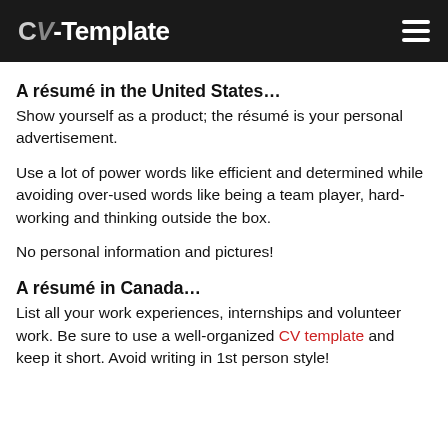CV-Template
A résumé in the United States…
Show yourself as a product; the résumé is your personal advertisement.
Use a lot of power words like efficient and determined while avoiding over-used words like being a team player, hard-working and thinking outside the box.
No personal information and pictures!
A résumé in Canada…
List all your work experiences, internships and volunteer work. Be sure to use a well-organized CV template and keep it short. Avoid writing in 1st person style!